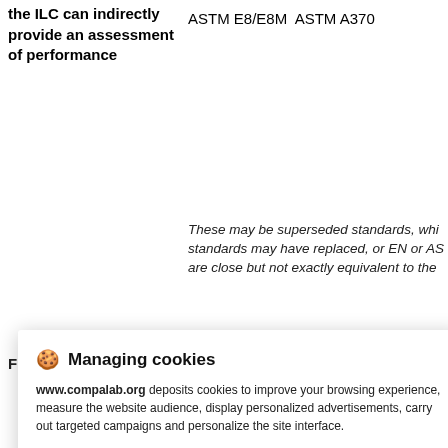the ILC can indirectly provide an assessment of performance
ASTM E8/E8M  ASTM A370
These may be superseded standards, which newer standards may have replaced, or EN or AS... are close but not exactly equivalent to the...
[Figure (screenshot): Cookie consent modal dialog from www.compalab.org with title 'Managing cookies', body text about cookies, a privacy policy link, and three buttons: REFUSE, SETTINGS, ACCEPT]
they commit to provide results,